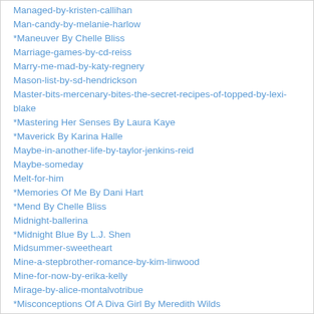Managed-by-kristen-callihan
Man-candy-by-melanie-harlow
*Maneuver By Chelle Bliss
Marriage-games-by-cd-reiss
Marry-me-mad-by-katy-regnery
Mason-list-by-sd-hendrickson
Master-bits-mercenary-bites-the-secret-recipes-of-topped-by-lexi-blake
*Mastering Her Senses By Laura Kaye
*Maverick By Karina Halle
Maybe-in-another-life-by-taylor-jenkins-reid
Maybe-someday
Melt-for-him
*Memories Of Me By Dani Hart
*Mend By Chelle Bliss
Midnight-ballerina
*Midnight Blue By L.J. Shen
Midsummer-sweetheart
Mine-a-stepbrother-romance-by-kim-linwood
Mine-for-now-by-erika-kelly
Mirage-by-alice-montalvotribue
*Misconceptions Of A Diva Girl By Meredith Wilds